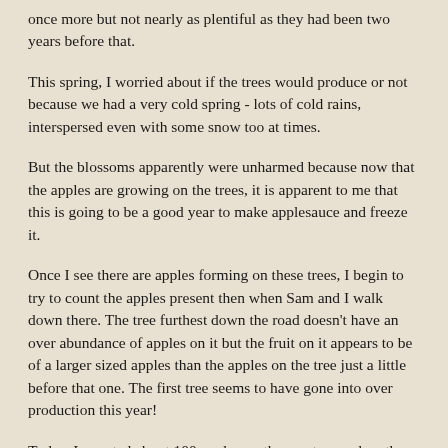once more but not nearly as plentiful as they had been two years before that.
This spring, I worried about if the trees would produce or not because we had a very cold spring - lots of cold rains, interspersed even with some snow too at times.
But the blossoms apparently were unharmed because now that the apples are growing on the trees, it is apparent to me that this is going to be a good year to make applesauce and freeze it.
Once I see there are apples forming on these trees, I begin to try to count the apples present then when Sam and I walk down there. The tree furthest down the road doesn't have an over abundance of apples on it but the fruit on it appears to be of a larger sized apples than the apples on the tree just a little before that one. The first tree seems to have gone into over production this year!
Today, I counted about 100 apples on the one tree and on the other tree, with the smaller apples, I counted at least 850